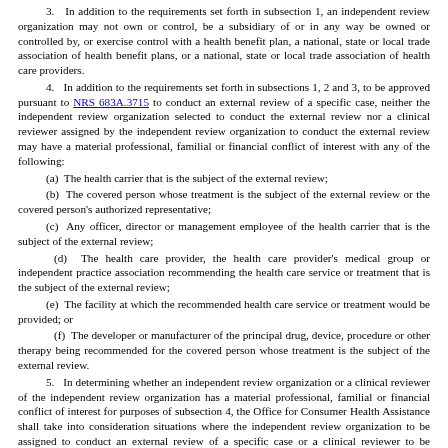3. In addition to the requirements set forth in subsection 1, an independent review organization may not own or control, be a subsidiary of or in any way be owned or controlled by, or exercise control with a health benefit plan, a national, state or local trade association of health benefit plans, or a national, state or local trade association of health care providers.
4. In addition to the requirements set forth in subsections 1, 2 and 3, to be approved pursuant to NRS 683A.3715 to conduct an external review of a specific case, neither the independent review organization selected to conduct the external review nor a clinical reviewer assigned by the independent review organization to conduct the external review may have a material professional, familial or financial conflict of interest with any of the following:
(a) The health carrier that is the subject of the external review;
(b) The covered person whose treatment is the subject of the external review or the covered person's authorized representative;
(c) Any officer, director or management employee of the health carrier that is the subject of the external review;
(d) The health care provider, the health care provider's medical group or independent practice association recommending the health care service or treatment that is the subject of the external review;
(e) The facility at which the recommended health care service or treatment would be provided; or
(f) The developer or manufacturer of the principal drug, device, procedure or other therapy being recommended for the covered person whose treatment is the subject of the external review.
5. In determining whether an independent review organization or a clinical reviewer of the independent review organization has a material professional, familial or financial conflict of interest for purposes of subsection 4, the Office for Consumer Health Assistance shall take into consideration situations where the independent review organization to be assigned to conduct an external review of a specific case or a clinical reviewer to be assigned by the independent review organization to conduct an external review of a specific case may have an apparent professional, familial or financial relationship or connection with a person described in subsection 4, but that the characteristics of that relationship or connection are such that they are not a material professional, familial...